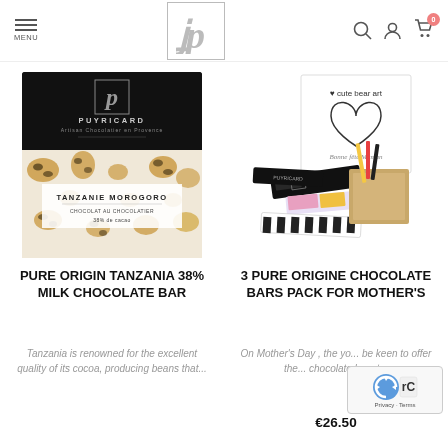MENU — Puyricard Artisan Chocolatier en Provence (logo) — Search, User, Cart (0)
[Figure (photo): Puyricard chocolate bar box with leopard print pattern and black top — Tanzanie Morogoro 38% milk chocolate]
[Figure (photo): 3 Pure Origin chocolate bars gift pack for Mother's Day — heart-shaped card with cute animals plus multiple chocolate bar boxes]
PURE ORIGIN TANZANIA 38% MILK CHOCOLATE BAR
3 PURE ORIGINE CHOCOLATE BARS PACK FOR MOTHER'S
Tanzania is renowned for the excellent quality of its cocoa, producing beans that...
On Mother's Day , the yo... be keen to offer the... chocolate bars t...
€26.50